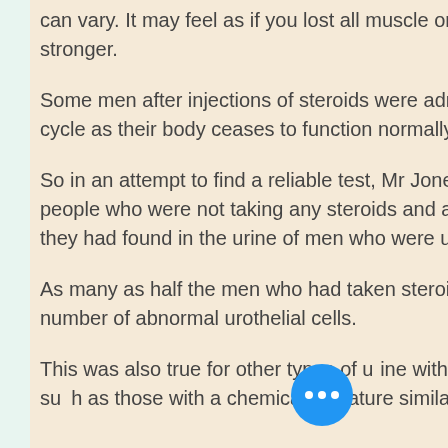can vary. It may feel as if you lost all muscle or you feel your muscles become stronger.
Some men after injections of steroids were admitted to the hospitals after their cycle as their body ceases to function normally.
So in an attempt to find a reliable test, Mr Jones's team examined the urine of people who were not taking any steroids and also an unusual variety of urine that they had found in the urine of men who were using steroids.
As many as half the men who had taken steroids in the past year had a "high" number of abnormal urothelial cells.
This was also true for other types of urine with a distinct chemical composition, such as those with a chemical signature similar to